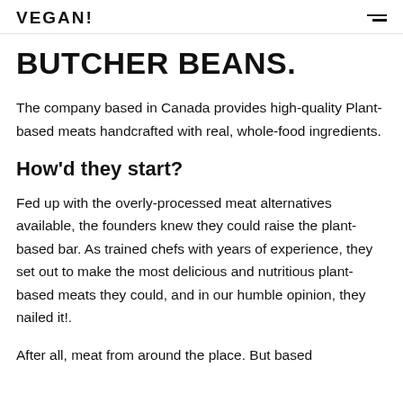VEGAN!
BUTCHER BEANS.
The company based in Canada provides high-quality Plant-based meats handcrafted with real, whole-food ingredients.
How'd they start?
Fed up with the overly-processed meat alternatives available, the founders knew they could raise the plant-based bar. As trained chefs with years of experience, they set out to make the most delicious and nutritious plant-based meats they could, and in our humble opinion, they nailed it!.
After all, meat from around the place. Butcured based